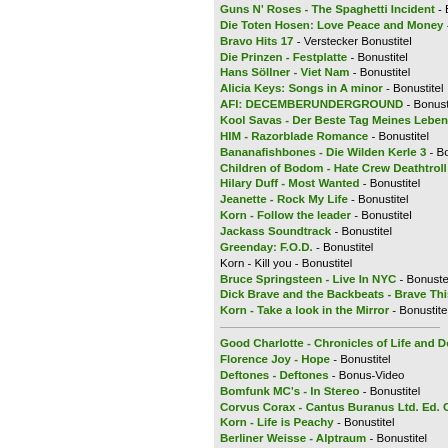Guns N' Roses - The Spaghetti Incident - Bonustitel
Die Toten Hosen: Love Peace and Money - Bonustitel
Bravo Hits 17 - Verstecker Bonustitel
Die Prinzen - Festplatte - Bonustitel
Hans Söllner - Viet Nam - Bonustitel
Alicia Keys: Songs in A minor - Bonustitel
AFI: DECEMBERUNDERGROUND - Bonustitel
Kool Savas - Der Beste Tag Meines Lebens
HIM - Razorblade Romance - Bonustitel
Bananafishbones - Die Wilden Kerle 3 - Bonustitel
Children of Bodom - Hate Crew Deathtroll - Bonustitel
Hilary Duff - Most Wanted - Bonustitel
Jeanette - Rock My Life - Bonustitel
Korn - Follow the leader - Bonustitel
Jackass Soundtrack - Bonustitel
Greenday: F.O.D. - Bonustitel
Korn - Kill you - Bonustitel
Bruce Springsteen - Live In NYC - Bonustitel
Dick Brave and the Backbeats - Brave This
Korn - Take a look in the Mirror - Bonustitel
Good Charlotte - Chronicles of Life and De
Florence Joy - Hope - Bonustitel
Deftones - Deftones - Bonus-Video
Bomfunk MC's - In Stereo - Bonustitel
Corvus Corax - Cantus Buranus Ltd. Ed. C
Korn - Life is Peachy - Bonustitel
Berliner Weisse - Alptraum - Bonustitel